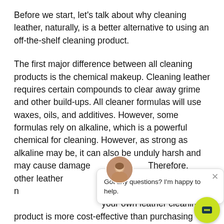Before we start, let's talk about why cleaning leather, naturally, is a better alternative to using an off-the-shelf cleaning product.
The first major difference between all cleaning products is the chemical makeup. Cleaning leather requires certain compounds to clear away grime and other build-ups. All cleaner formulas will use waxes, oils, and additives. However, some formulas rely on alkaline, which is a powerful chemical for cleaning. However, as strong as alkaline may be, it can also be unduly harsh and may cause damage [to the leather surface]. Therefore, other leather [cleaners use] alkaline-free formulas, n[atural ingredients that] restore leather's beauty [and condition. Making] your own leather cleaning product is more cost-effective than purchasing one.
The way leather is produced has changed over the
[Figure (other): Chat widget overlay showing a customer support avatar photo of a woman, a close button (×), and the message 'Got any questions? I'm happy to help.' with a yellow-green round chat button and a 'Terms' label.]